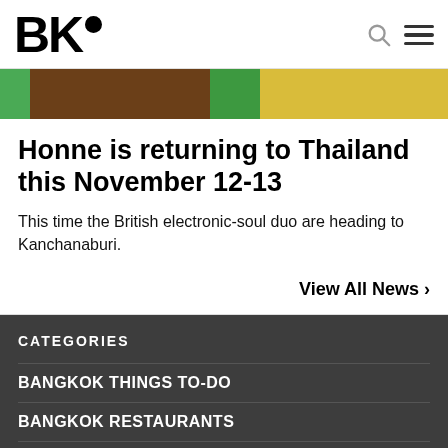BK•
[Figure (photo): Partial hero image showing brown and green and yellow floral pattern background]
Honne is returning to Thailand this November 12-13
This time the British electronic-soul duo are heading to Kanchanaburi.
View All News >
CATEGORIES
BANGKOK THINGS TO-DO
BANGKOK RESTAURANTS
BANGKOK NIGHTLIFE
BANGKOK TRAVEL